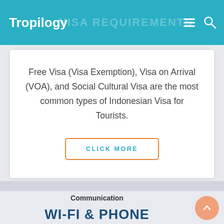Tropilogy — VISA REQUIREMENTS
Free Visa (Visa Exemption), Visa on Arrival (VOA), and Social Cultural Visa are the most common types of Indonesian Visa for Tourists.
CLICK MORE
Communication
WI-FI & PHONE